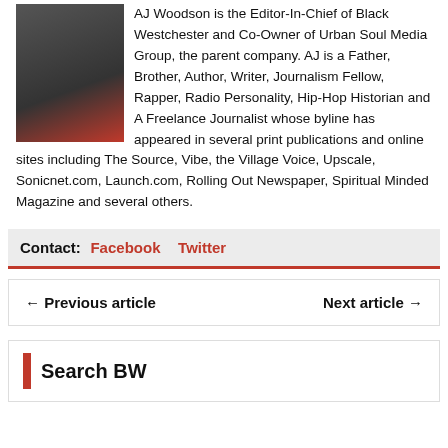[Figure (photo): Photo of AJ Woodson in a suit speaking into a microphone in a radio studio with red background]
AJ Woodson is the Editor-In-Chief of Black Westchester and Co-Owner of Urban Soul Media Group, the parent company. AJ is a Father, Brother, Author, Writer, Journalism Fellow, Rapper, Radio Personality, Hip-Hop Historian and A Freelance Journalist whose byline has appeared in several print publications and online sites including The Source, Vibe, the Village Voice, Upscale, Sonicnet.com, Launch.com, Rolling Out Newspaper, Spiritual Minded Magazine and several others.
Contact: Facebook Twitter
← Previous article    Next article →
Search BW